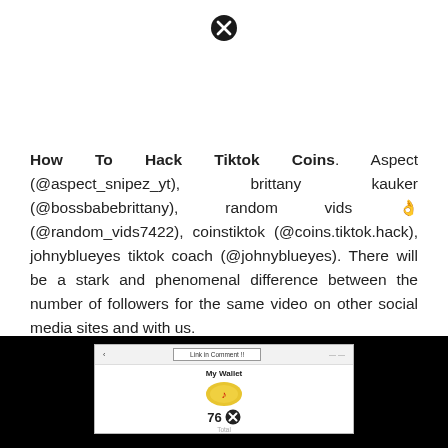[Figure (other): Close/dismiss button (circled X icon) at top center of page]
How To Hack Tiktok Coins. Aspect (@aspect_snipez_yt), brittany kauker (@bossbabebrittany), random vids 👌 (@random_vids7422), coinstiktok (@coins.tiktok.hack), johnyblueyes tiktok coach (@johnyblueyes). There will be a stark and phenomenal difference between the number of followers for the same video on other social media sites and with us.
[Figure (screenshot): Screenshot of a TikTok My Wallet interface on a mobile device, showing 76 coins and a TikTok logo coin, with a 'Link in Comment !!' bar at the top and a close button overlay]